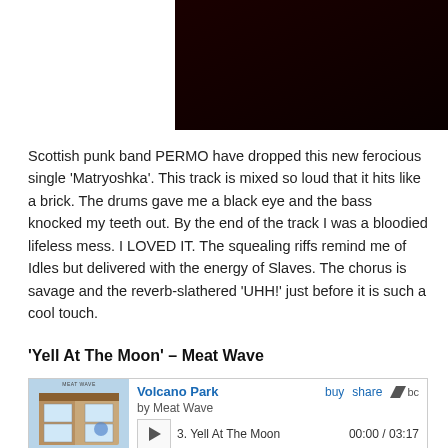[Figure (photo): Dark/black video embed thumbnail at top center of page]
Scottish punk band PERMO have dropped this new ferocious single 'Matryoshka'. This track is mixed so loud that it hits like a brick. The drums gave me a black eye and the bass knocked my teeth out. By the end of the track I was a bloodied lifeless mess. I LOVED IT. The squealing riffs remind me of Idles but delivered with the energy of Slaves. The chorus is savage and the reverb-slathered 'UHH!' just before it is such a cool touch.
'Yell At The Moon' – Meat Wave
[Figure (screenshot): Bandcamp embedded music player for 'Volcano Park' by Meat Wave, showing track 3: Yell At The Moon, 00:00 / 03:17, with album art, play button, progress bar, and skip controls]